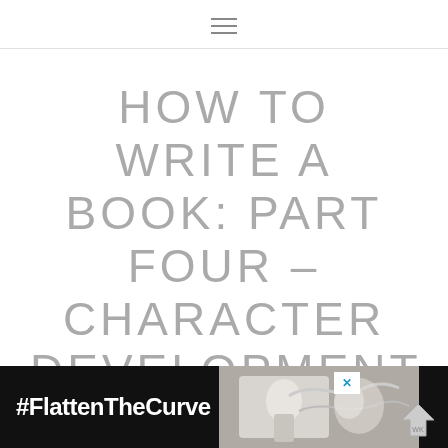≡
HOW TO WRITE A BOOK: PART FOUR – CHARACTER DEVELOPMENT
Monday, September 17th, 2018
[Figure (other): Advertisement banner with dark background showing '#FlattenTheCurve' text in white bold font, a hand-washing image, a close button, and a small logo on the right.]